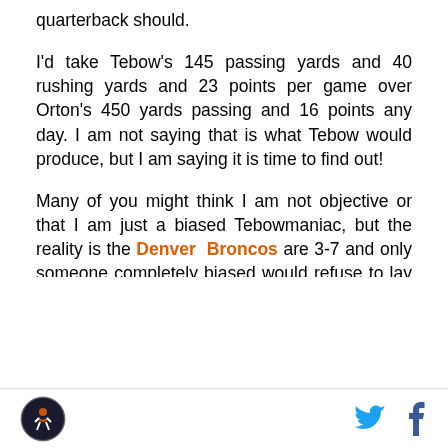quarterback should.
I'd take Tebow's 145 passing yards and 40 rushing yards and 23 points per game over Orton's 450 yards passing and 16 points any day. I am not saying that is what Tebow would produce, but I am saying it is time to find out!
Many of you might think I am not objective or that I am just a biased Tebowmaniac, but the reality is the Denver Broncos are 3-7 and only someone completely biased would refuse to lay 100% of the blame on the head coach and quarterback. We all saw what happens when the quarterback executes the head coaches game plan (40 points) and what
[logo] [twitter] [facebook]